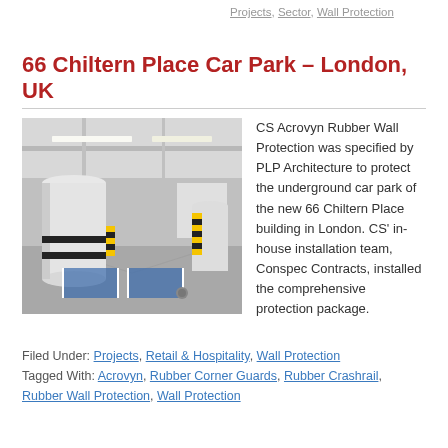Projects, Sector, Wall Protection
66 Chiltern Place Car Park – London, UK
[Figure (photo): Interior photo of underground car park at 66 Chiltern Place, showing large white cylindrical columns with yellow and black striped corner guards, blue marked parking spaces on grey floor, and fluorescent ceiling lighting.]
CS Acrovyn Rubber Wall Protection was specified by PLP Architecture to protect the underground car park of the new 66 Chiltern Place building in London. CS' in-house installation team, Conspec Contracts, installed the comprehensive protection package.
Filed Under: Projects, Retail & Hospitality, Wall Protection Tagged With: Acrovyn, Rubber Corner Guards, Rubber Crashrail, Rubber Wall Protection, Wall Protection